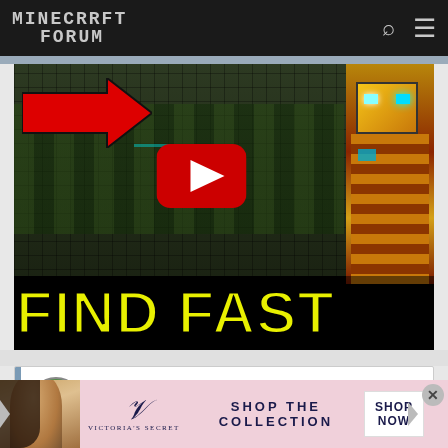MINECRAFT FORUM
[Figure (screenshot): YouTube video thumbnail showing a Minecraft aerial view with red arrow pointing, a gold robot character on the right, YouTube play button overlay, and text 'FIND FAST' in yellow at the bottom]
GeronForever
Apr 13, 2022
#12
[Figure (photo): Victoria's Secret advertisement banner with woman photo, VS logo, text 'SHOP THE COLLECTION', and 'SHOP NOW' button]